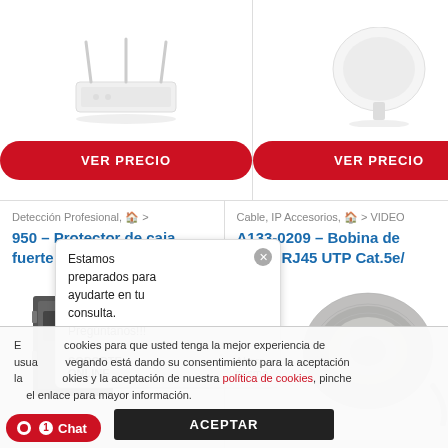[Figure (photo): White WiFi router product image, top left card]
VER PRECIO
[Figure (photo): White circular antenna/dish product image, top right card]
VER PRECIO
Detección Profesional, 🏠 >
950 – Protector de caja fuerte
[Figure (photo): Dark grey safe box protector product image]
Cable, IP Accesorios, 🏠 > VIDEO
A133-0209 – Bobina de Cable RJ45 UTP Cat.5e/
[Figure (photo): Grey coil of RJ45 UTP Cat.5e cable]
Estamos preparados para ayudarte en tu consulta. Pregúntanos!!!
SOPORTE ONLINE   Ahora mismo
Este sitio web utiliza cookies para que usted tenga la mejor experiencia de usuario. Si continúa navegando está dando su consentimiento para la aceptación de las mencionadas cookies y la aceptación de nuestra política de cookies, pinche el enlace para mayor información.
ACEPTAR
Chat 1